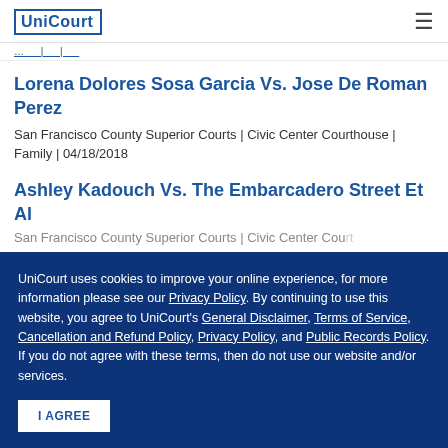UniCourt
…partial breadcrumb/link text…
Lorena Dolores Sosa Garcia Vs. Jose De Roman Perez
San Francisco County Superior Courts | Civic Center Courthouse | Family | 04/18/2018
Ashley Kadouch Vs. The Embarcadero Street Et Al
San Francisco County Superior Courts | Civic Center Courthouse | …
UniCourt uses cookies to improve your online experience, for more information please see our Privacy Policy. By continuing to use this website, you agree to UniCourt's General Disclaimer, Terms of Service, Cancellation and Refund Policy, Privacy Policy, and Public Records Policy. If you do not agree with these terms, then do not use our website and/or services.
I AGREE